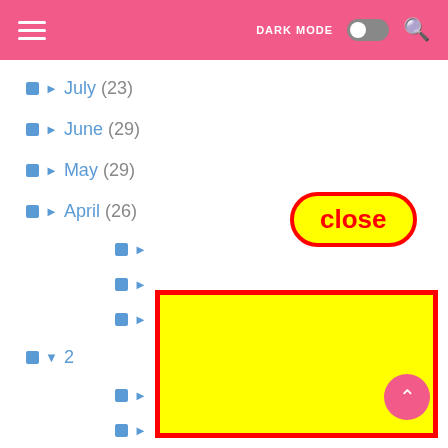[Figure (screenshot): App header bar with hamburger menu, DARK MODE toggle switch, and search icon on pink background]
▶ July (23)
▶ June (29)
▶ May (29)
▶ April (26)
[Figure (other): Red-bordered 'close' button with yellow background and red text overlaid on the list]
[Figure (other): Large yellow rectangle with red border covering lower portion of the screen, with a pink scroll-to-top button in bottom right corner]